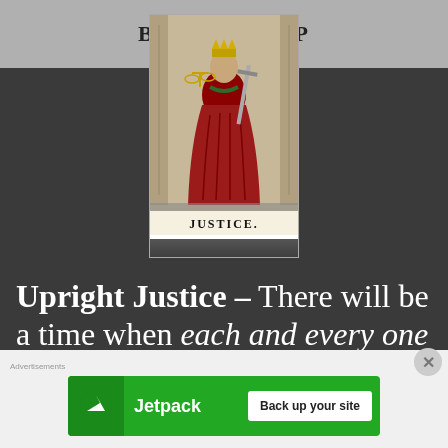BACK TO TOP
[Figure (photo): Tarot card image showing the Justice card — a robed figure in red with the word JUSTICE at the bottom]
Upright Justice – There will be a time when each and every one of us will be judged. So be aware careful how you
[Figure (other): Jetpack advertisement banner: green banner with Jetpack logo and 'Back up your site' button]